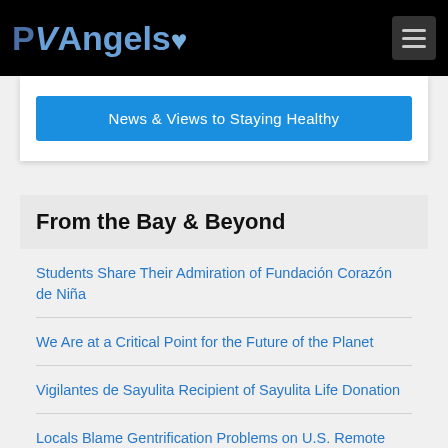[Figure (logo): PVAngels logo with heart icon in blue/grey tones on black background]
News & Views to Staying Healthy
From the Bay & Beyond
Students Share Their Admiration of Fundación Corazón de Niña
We Are at a Critical Point for the Future of the Planet
Vigilantes de Sayulita Recipient of Sayulita Life Donation
Locals Blame Gentrification Problems on U.S. Remote Workers
Start Planning Your 2022 Year-End Fundraising